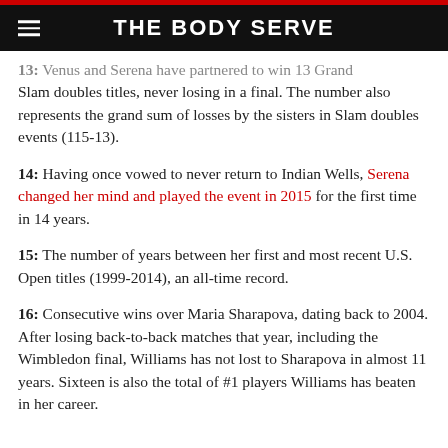THE BODY SERVE
13: Venus and Serena have partnered to win 13 Grand Slam doubles titles, never losing in a final. The number also represents the grand sum of losses by the sisters in Slam doubles events (115-13).
14: Having once vowed to never return to Indian Wells, Serena changed her mind and played the event in 2015 for the first time in 14 years.
15: The number of years between her first and most recent U.S. Open titles (1999-2014), an all-time record.
16: Consecutive wins over Maria Sharapova, dating back to 2004. After losing back-to-back matches that year, including the Wimbledon final, Williams has not lost to Sharapova in almost 11 years. Sixteen is also the total of #1 players Williams has beaten in her career.